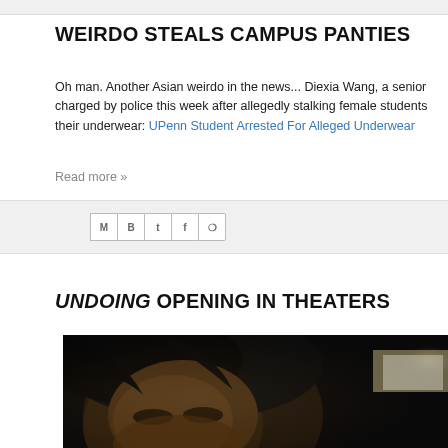WEIRDO STEALS CAMPUS PANTIES
Oh man. Another Asian weirdo in the news... Diexia Wang, a senior charged by police this week after allegedly stalking female students their underwear: UPenn Student Arrested For Alleged Underwear
Read more »
[Figure (other): Social share bar with icons for Gmail, Blogger, Twitter, Facebook, Pinterest]
UNDOING OPENING IN THEATERS
[Figure (photo): Close-up photo of a person with dark hair, partially cropped, dark cinematic tones with a bright light source in the background]